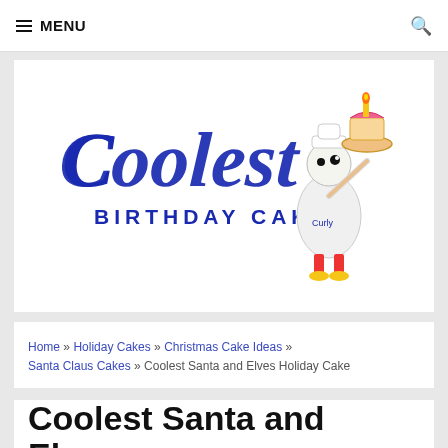MENU
[Figure (logo): Coolest Birthday Cakes logo with stylized script text and cartoon character holding a cake]
Home » Holiday Cakes » Christmas Cake Ideas » Santa Claus Cakes » Coolest Santa and Elves Holiday Cake
Coolest Santa and Elves